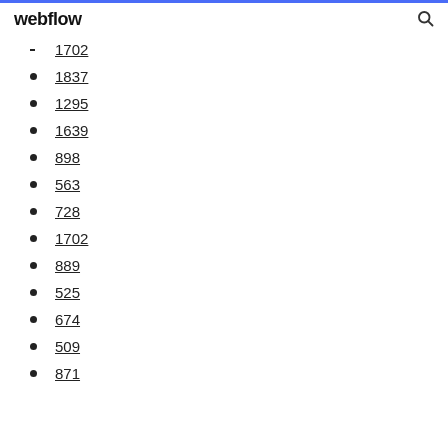webflow
1702
1837
1295
1639
898
563
728
1702
889
525
674
509
871